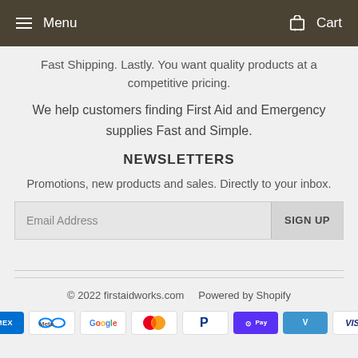Menu  Cart
Fast Shipping. Lastly. You want quality products at a competitive pricing.
We help customers finding First Aid and Emergency supplies Fast and Simple.
NEWSLETTERS
Promotions, new products and sales. Directly to your inbox.
Email Address  SIGN UP
© 2022 firstaidworks.com    Powered by Shopify
[Figure (other): Payment method icons: American Express, Meta Pay, Google Pay, Mastercard, PayPal, Shop Pay, Venmo, Visa]